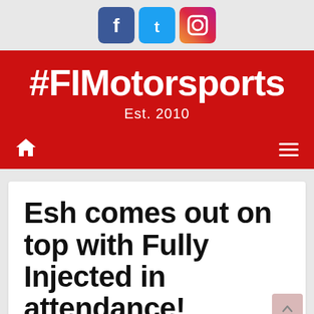[Figure (logo): Three social media icons: Facebook (blue square), Twitter (light blue square), Instagram (gradient square)]
#FIMotorsports
Est. 2010
[Figure (other): Navigation bar with home icon on left and hamburger menu on right, on red background]
Esh comes out on top with Fully Injected in attendance!